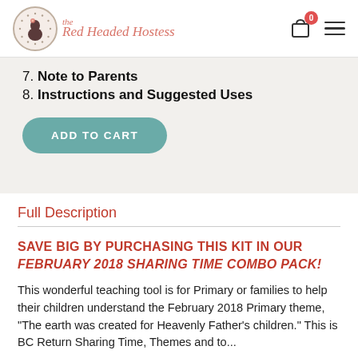The Red Headed Hostess
7. Note to Parents
8. Instructions and Suggested Uses
[Figure (other): ADD TO CART button]
Full Description
SAVE BIG BY PURCHASING THIS KIT IN OUR FEBRUARY 2018 SHARING TIME COMBO PACK!
This wonderful teaching tool is for Primary or families to help their children understand the February 2018 Primary theme, "The earth was created for Heavenly Father's children." This is BC Return Sharing Time, Themes and...